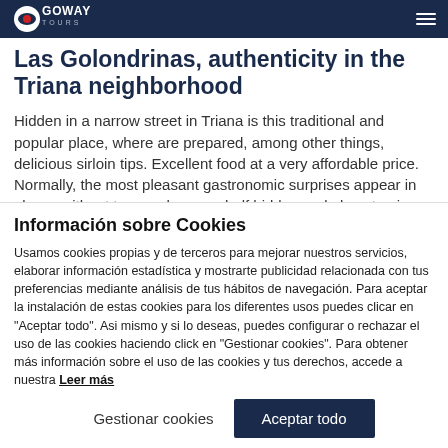[Figure (logo): GoWay Tours logo with eye icon and hamburger menu on dark navy navigation bar]
Las Golondrinas, authenticity in the Triana neighborhood
Hidden in a narrow street in Triana is this traditional and popular place, where are prepared, among other things, delicious sirloin tips. Excellent food at a very affordable price. Normally, the most pleasant gastronomic surprises appear in places without too much pomp, half hidden and almost going unnoticed. An obligatory stop to try also the ham caballitos. the Iberian carillada. the coasted codfish
Información sobre Cookies
Usamos cookies propias y de terceros para mejorar nuestros servicios, elaborar información estadística y mostrarte publicidad relacionada con tus preferencias mediante análisis de tus hábitos de navegación. Para aceptar la instalación de estas cookies para los diferentes usos puedes clicar en "Aceptar todo". Asi mismo y si lo deseas, puedes configurar o rechazar el uso de las cookies haciendo click en "Gestionar cookies". Para obtener más información sobre el uso de las cookies y tus derechos, accede a nuestra Leer más
Gestionar cookies | Aceptar todo